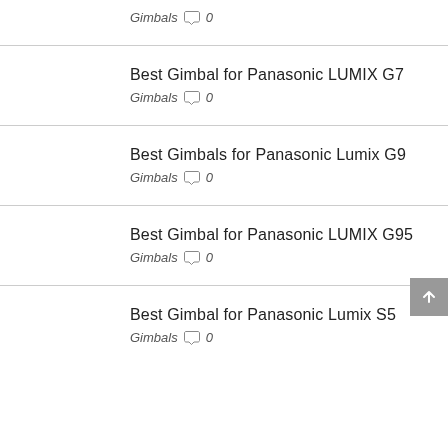Gimbals  0
Best Gimbal for Panasonic LUMIX G7
Gimbals  0
Best Gimbals for Panasonic Lumix G9
Gimbals  0
Best Gimbal for Panasonic LUMIX G95
Gimbals  0
Best Gimbal for Panasonic Lumix S5
Gimbals  0